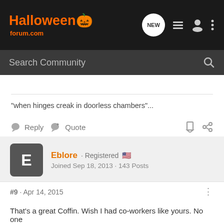[Figure (screenshot): HalloweenForum.com navigation bar with logo and icons]
[Figure (screenshot): Search Community search bar]
"when hinges creak in doorless chambers"...
Reply   Quote
Eblore · Registered
Joined Sep 18, 2013 · 143 Posts
#9 · Apr 14, 2015
That's a great Coffin. Wish I had co-workers like yours. No one